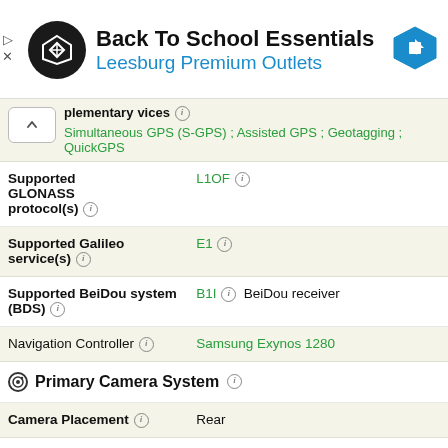[Figure (infographic): Advertisement banner for Back To School Essentials at Leesburg Premium Outlets with logo and navigation arrow icon]
Simultaneous GPS (S-GPS) ; Assisted GPS ; Geotagging ; QuickGPS
| Supported GLONASS protocol(s) ⓘ | L1OF ⓘ |
| Supported Galileo service(s) ⓘ | E1 ⓘ |
| Supported BeiDou system (BDS) ⓘ | B1I ⓘ  BeiDou receiver |
| Navigation Controller ⓘ | Samsung Exynos 1280 |
| Primary Camera System ⓘ |  |
| Camera Placement ⓘ | Rear |
| Camera Image Sensor ⓘ | BSI CMOS ⓘ |
| Image Sensor Format ⓘ | 1/1.70 |
Primary Camera System ⓘ